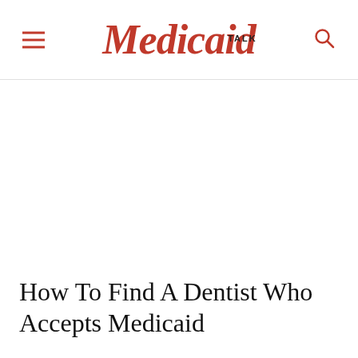Medicaid TALK
How To Find A Dentist Who Accepts Medicaid